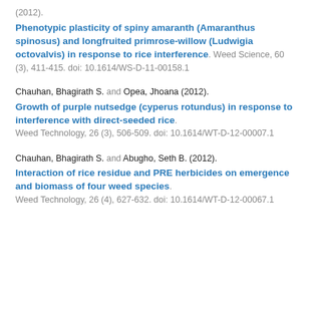(2012). Phenotypic plasticity of spiny amaranth (Amaranthus spinosus) and longfruited primrose-willow (Ludwigia octovalvis) in response to rice interference. Weed Science, 60 (3), 411-415. doi: 10.1614/WS-D-11-00158.1
Chauhan, Bhagirath S. and Opea, Jhoana (2012). Growth of purple nutsedge (cyperus rotundus) in response to interference with direct-seeded rice. Weed Technology, 26 (3), 506-509. doi: 10.1614/WT-D-12-00007.1
Chauhan, Bhagirath S. and Abugho, Seth B. (2012). Interaction of rice residue and PRE herbicides on emergence and biomass of four weed species. Weed Technology, 26 (4), 627-632. doi: 10.1614/WT-D-12-00067.1